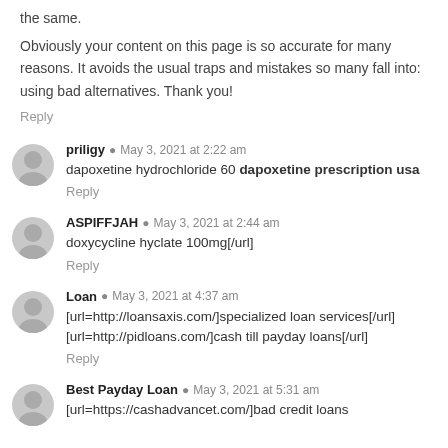the same.
Obviously your content on this page is so accurate for many reasons. It avoids the usual traps and mistakes so many fall into: using bad alternatives. Thank you!
Reply
priligy  May 3, 2021 at 2:22 am
dapoxetine hydrochloride 60 dapoxetine prescription usa
Reply
ASPIFFJAH  May 3, 2021 at 2:44 am
doxycycline hyclate 100mg[/url]
Reply
Loan  May 3, 2021 at 4:37 am
[url=http://loansaxis.com/]specialized loan services[/url]
[url=http://pidloans.com/]cash till payday loans[/url]
Reply
Best Payday Loan  May 3, 2021 at 5:31 am
[url=https://cashadvancet.com/]bad credit loans